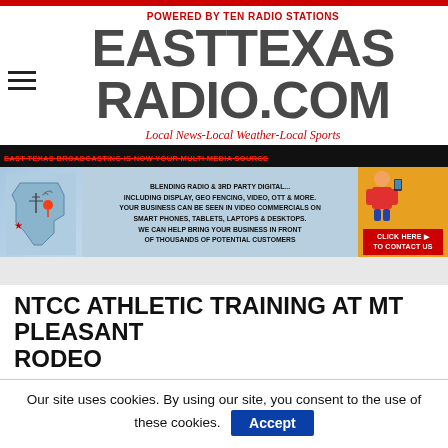POWERED BY TEN RADIO STATIONS — EASTTEXASRADIO.COM — Local News-Local Weather-Local Sports
[Figure (infographic): East Texas Broadcasting promotional banner ad. Header: 'EAST TEXAS BROADCASTING IS NOW YOUR MULTI MEDIA SOURCE'. Body text: 'BLENDING RADIO & 3RD PARTY DIGITAL... INCLUDING DISPLAY, GEO FENCING, VIDEO, OTT & MORE. YOUR BUSINESS CAN BE SEEN IN VIDEO COMMERCIALS ON SMART PHONES, TABLETS, LAPTOPS & DESKTOPS. WE CAN HELP BRING YOUR BUSINESS IN FRONT OF THOUSANDS OF POTENTIAL CUSTOMERS'. Right side has red 'CLICK HERE TO CONTACT US' button.]
NTCC ATHLETIC TRAINING AT MT PLEASANT RODEO
Our site uses cookies. By using our site, you consent to the use of these cookies.